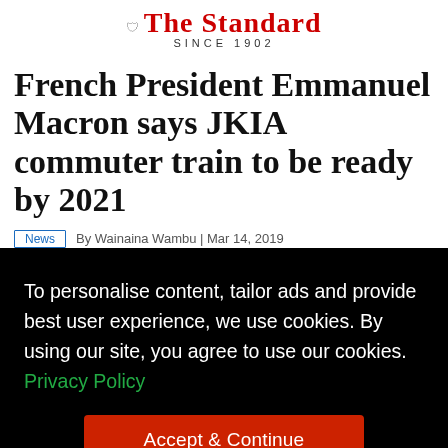The Standard SINCE 1902
French President Emmanuel Macron says JKIA commuter train to be ready by 2021
News | By Wainaina Wambu | Mar 14, 2019
To personalise content, tailor ads and provide best user experience, we use cookies. By using our site, you agree to use our cookies. Privacy Policy
Accept & Continue
[Figure (photo): Partial photo showing two people shaking hands at the bottom of the page]